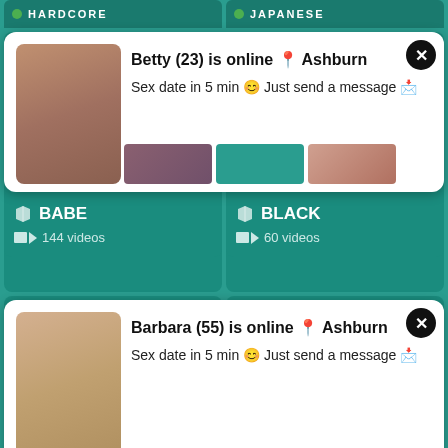HARDCORE   JAPANESE
Betty (23) is online 📍 Ashburn
Sex date in 5 min 😊 Just send a message 💌
Barbara (55) is online 📍 Ashburn
Sex date in 5 min 😊 Just send a message 💌
BABE
144 videos
BLACK
60 videos
[Figure (photo): Video thumbnail showing two people]
[Figure (illustration): Teal background with large black circles/dots pattern, scroll-to-top button]